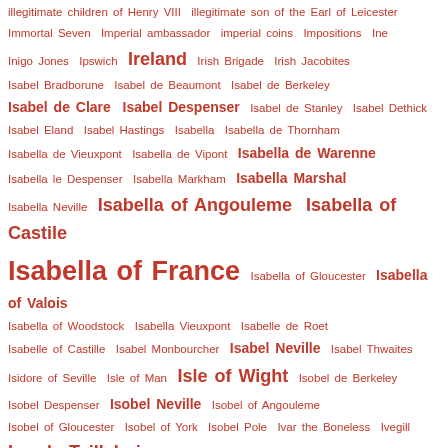illegitimate children of Henry VIII  illegitimate son of the Earl of Leicester
Immortal Seven  Imperial ambassador  imperial coins  Impositions  Ine
Inigo Jones  Ipswich  Ireland  Irish Brigade  Irish Jacobites
Isabel Bradborune  Isabel de Beaumont  Isabel de Berkeley
Isabel de Clare  Isabel Despenser  Isabel de Stanley  Isabel Dethick
Isabel Eland  Isabel Hastings  Isabella  Isabella de Thornham
Isabella de Vieuxpont  Isabella de Vipont  Isabella de Warenne
Isabella le Despenser  Isabella Markham  Isabella Marshal
Isabella Neville  Isabella of Angouleme  Isabella of Castile
Isabella of France  Isabella of Gloucester  Isabella of Valois
Isabella of Woodstock  Isabella Vieuxpont  Isabelle de Roet
Isabelle of Castille  Isabel Monbourcher  Isabel Neville  Isabel Thwaites
Isidore of Seville  Isle of Man  Isle of Wight  Isobel de Berkeley
Isobel Despenser  Isobel Neville  Isobel of Angouleme
Isobel of Gloucester  Isobel of York  Isobel Pole  Ivar the Boneless  Ivegill
Ivo de Taillebois  Ivo de Vesci  Ivo Fitzwarren  jack-in-the-green
Jack Cade  Jacobean architecture  Jacobean rood screens  Jacobite
Jacobites  jacobite symbolism  Jacqueline of Hainault
Jacquetta of Luxembourg  Jacquetta Woodville  Jaime II